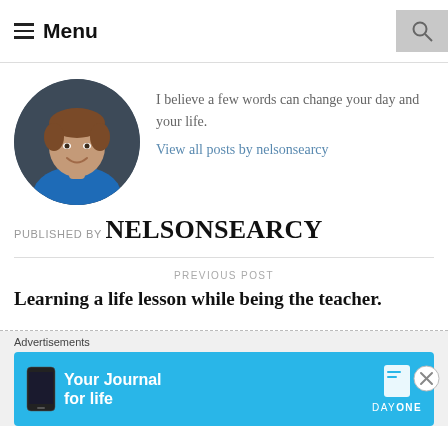Menu
[Figure (photo): Circular portrait photo of a young man with short brown hair, smiling, wearing a blue shirt, against a dark background.]
I believe a few words can change your day and your life.
View all posts by nelsonsearcy
PUBLISHED BY NELSONSEARCY
PREVIOUS POST
Learning a life lesson while being the teacher.
Advertisements
[Figure (screenshot): Blue advertisement banner for Day One app with text 'Your Journal for life' and an app icon on a phone.]